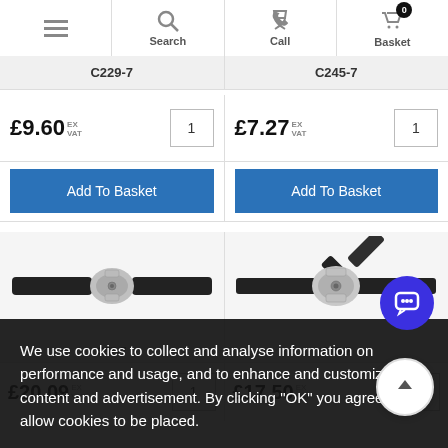Menu | Search | Call | Basket 0
C229-7
C245-7
£9.60 EX VAT  1
£7.27 EX VAT  1
Add To Basket
Add To Basket
[Figure (photo): Black pipe with silver tubular connector clamp, two bolts visible]
[Figure (photo): Black pipes with silver cross/tee connector clamp, bolts visible]
C57-7
C28-7
£20.09 EX VAT
£17.50 EX VAT
We use cookies to collect and analyse information on performance and usage, and to enhance and customize content and advertisement. By clicking "OK" you agree to allow cookies to be placed.